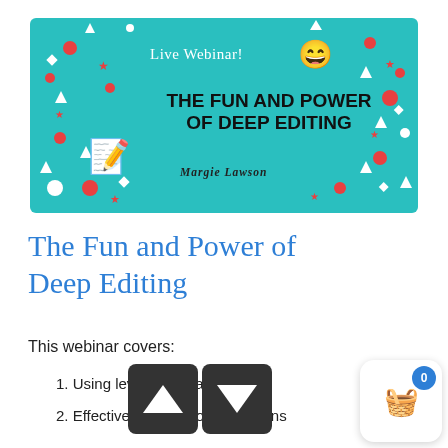[Figure (illustration): Teal/turquoise webinar banner with confetti decorations, text 'Live Webinar!' with laughing emoji, bold title 'THE FUN AND POWER OF DEEP EDITING', notepad illustration, and author name 'Margie Lawson']
The Fun and Power of Deep Editing
This webinar covers:
1. Using leve... am... ication
2. Effective s... u... ponse patterns